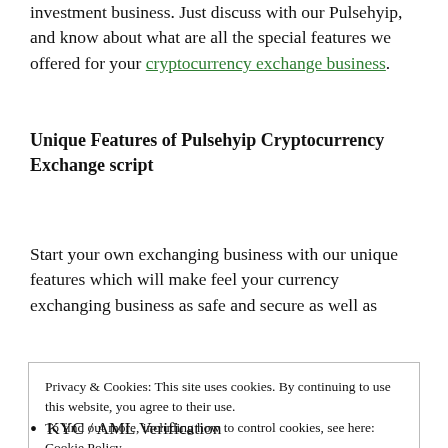investment business. Just discuss with our Pulsehyip, and know about what are all the special features we offered for your cryptocurrency exchange business.
Unique Features of Pulsehyip Cryptocurrency Exchange script
Start your own exchanging business with our unique features which will make feel your currency exchanging business as safe and secure as well as
Privacy & Cookies: This site uses cookies. By continuing to use this website, you agree to their use.
To find out more, including how to control cookies, see here: Cookie Policy

Close and accept
KYC / AML Verification